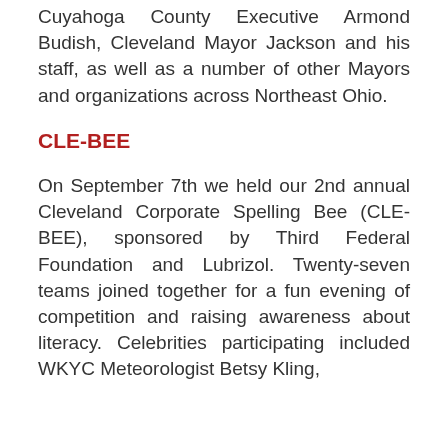Cuyahoga County Executive Armond Budish, Cleveland Mayor Jackson and his staff, as well as a number of other Mayors and organizations across Northeast Ohio.
CLE-BEE
On September 7th we held our 2nd annual Cleveland Corporate Spelling Bee (CLE-BEE), sponsored by Third Federal Foundation and Lubrizol. Twenty-seven teams joined together for a fun evening of competition and raising awareness about literacy. Celebrities participating included WKYC Meteorologist Betsy Kling, [Director Mike Snyder